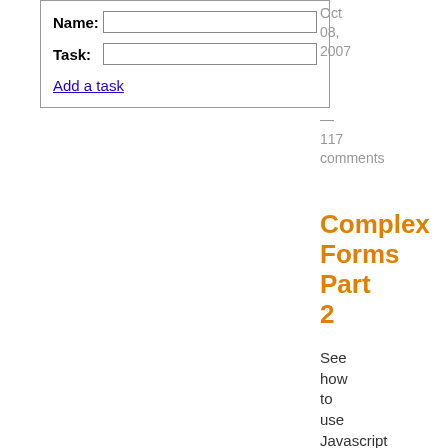[Figure (screenshot): A web form with Name and Task input fields and an 'Add a task' link inside a bordered box.]
Oct 08, 2007
—
117 comments
Complex Forms Part 2
See how to use Javascript and RJS to add and remove form fields dynamically. This episode will